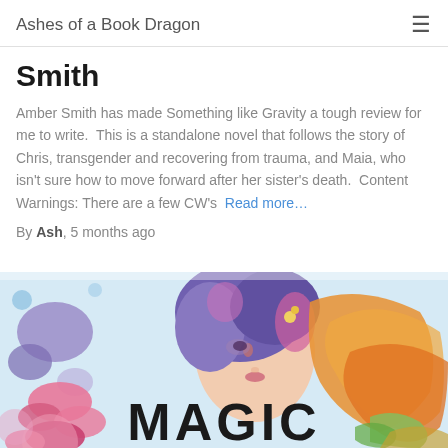Ashes of a Book Dragon
Smith
Amber Smith has made Something like Gravity a tough review for me to write.  This is a standalone novel that follows the story of Chris, transgender and recovering from trauma, and Maia, who isn't sure how to move forward after her sister's death.  Content Warnings: There are a few CW's  Read more…
By Ash, 5 months ago
[Figure (illustration): Colorful illustrated book cover for a book titled MAGIC, featuring an anime-style character with colorful hair surrounded by floral and magical elements in vibrant pinks, purples, oranges, and blues.]